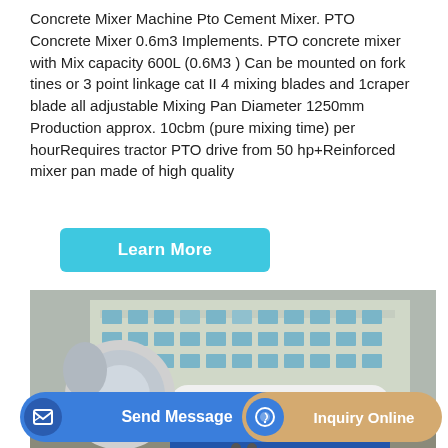Concrete Mixer Machine Pto Cement Mixer. PTO Concrete Mixer 0.6m3 Implements. PTO concrete mixer with Mix capacity 600L (0.6M3 ) Can be mounted on fork tines or 3 point linkage cat II 4 mixing blades and 1craper blade all adjustable Mixing Pan Diameter 1250mm Production approx. 10cbm (pure mixing time) per hourRequires tractor PTO drive from 50 hp+Reinforced mixer pan made of high quality
Learn More
[Figure (photo): A concrete mixer machine (white and blue) parked outdoors in front of a multi-story building, with cars visible in the background.]
Send Message
Inquiry Online